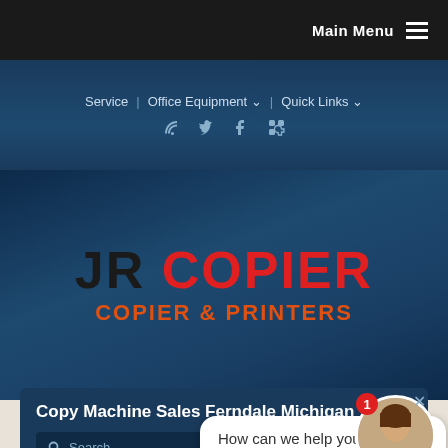Main Menu
Service | Office Equipment ˅ | Quick Links ˅
[Figure (logo): JR COPIER - COPIER & PRINTERS logo on dark blue gradient background]
Copy Machine Sales Ferndale Michigan
Search
Home › Michigan › … › Sales
How can we help you?